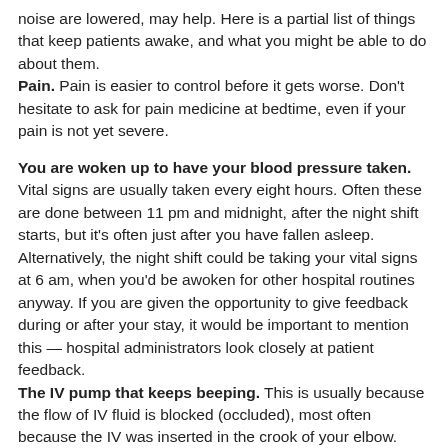noise are lowered, may help. Here is a partial list of things that keep patients awake, and what you might be able to do about them.
Pain. Pain is easier to control before it gets worse. Don't hesitate to ask for pain medicine at bedtime, even if your pain is not yet severe.
You are woken up to have your blood pressure taken. Vital signs are usually taken every eight hours. Often these are done between 11 pm and midnight, after the night shift starts, but it's often just after you have fallen asleep. Alternatively, the night shift could be taking your vital signs at 6 am, when you'd be awoken for other hospital routines anyway. If you are given the opportunity to give feedback during or after your stay, it would be important to mention this — hospital administrators look closely at patient feedback.
The IV pump that keeps beeping. This is usually because the flow of IV fluid is blocked (occluded), most often because the IV was inserted in the crook of your elbow. Thus, every time you bend your arm, the pump will alarm and start beeping. If this is the case, ask to have the IV put in a